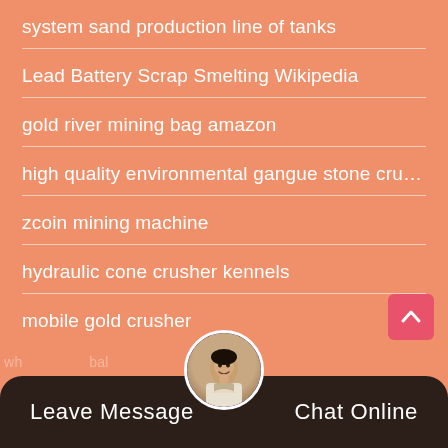system sand production line of tanks
Lead Battery Scrap Smelting Wikipedia
gold river mining bag amazon
high quality environmental gangue stone crushing mac...
zcoin mining machine
hydraulic cone crusher kennels
mobile gold crusher
Leave Message   Chat Online